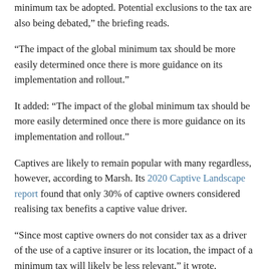minimum tax be adopted. Potential exclusions to the tax are also being debated,” the briefing reads.
“The impact of the global minimum tax should be more easily determined once there is more guidance on its implementation and rollout.”
It added: “The impact of the global minimum tax should be more easily determined once there is more guidance on its implementation and rollout.”
Captives are likely to remain popular with many regardless, however, according to Marsh. Its 2020 Captive Landscape report found that only 30% of captive owners considered realising tax benefits a captive value driver.
“Since most captive owners do not consider tax as a driver of the use of a captive insurer or its location, the impact of a minimum tax will likely be less relevant,” it wrote.
Marsh, Tax Rates, Risk Management, OECD/G20 Inclusive Framework, Insurance, Reinsurance, Global